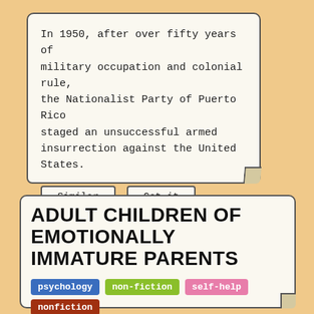In 1950, after over fifty years of military occupation and colonial rule, the Nationalist Party of Puerto Rico staged an unsuccessful armed insurrection against the United States.
Similar | Get it
Adult Children of Emotionally Immature Parents
psychology  non-fiction  self-help  nonfiction